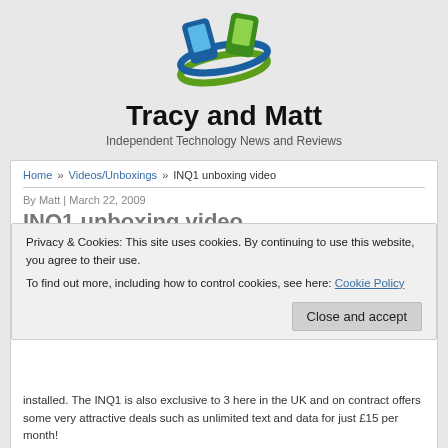[Figure (logo): Tracy and Matt website logo — two stylized mobile phones (one blue, one green) with a blue/green circular swoosh around them]
Tracy and Matt
Independent Technology News and Reviews
Home » Videos/Unboxings » INQ1 unboxing video
By Matt | March 22, 2009
INQ1 unboxing video
Privacy & Cookies: This site uses cookies. By continuing to use this website, you agree to their use. To find out more, including how to control cookies, see here: Cookie Policy
Close and accept
The INQ1 is the first handset to be released by manufacturer INQ. The handset is billed as a social networking phone and comes with Facebook, Windows Live Messenger and Skype applications pre-installed. The INQ1 is also exclusive to 3 here in the UK and on contract offers some very attractive deals such as unlimited text and data for just £15 per month!